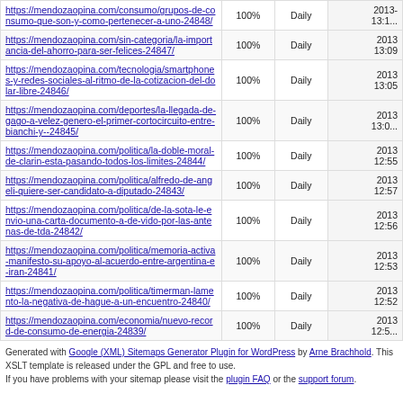| URL | Priority | Change Freq | Last Modified |
| --- | --- | --- | --- |
| https://mendozaopina.com/consumo/grupos-de-consumo-que-son-y-como-pertenecer-a-uno-24848/ | 100% | Daily | 2013-... 13:1... |
| https://mendozaopina.com/sin-categoria/la-importancia-del-ahorro-para-ser-felices-24847/ | 100% | Daily | 2013-... 13:09 |
| https://mendozaopina.com/tecnologia/smartphones-y-redes-sociales-al-ritmo-de-la-cotizacion-del-dolar-libre-24846/ | 100% | Daily | 2013-... 13:05 |
| https://mendozaopina.com/deportes/la-llegada-de-gago-a-velez-genero-el-primer-cortocircuito-entre-bianchi-y--24845/ | 100% | Daily | 2013-... 13:0... |
| https://mendozaopina.com/politica/la-doble-moral-de-clarin-esta-pasando-todos-los-limites-24844/ | 100% | Daily | 2013-... 12:55 |
| https://mendozaopina.com/politica/alfredo-de-angeli-quiere-ser-candidato-a-diputado-24843/ | 100% | Daily | 2013-... 12:57 |
| https://mendozaopina.com/politica/de-la-sota-le-envio-una-carta-documento-a-de-vido-por-las-antenas-de-tda-24842/ | 100% | Daily | 2013-... 12:56 |
| https://mendozaopina.com/politica/memoria-activa-manifesto-su-apoyo-al-acuerdo-entre-argentina-e-iran-24841/ | 100% | Daily | 2013-... 12:53 |
| https://mendozaopina.com/politica/timerman-lamento-la-negativa-de-hague-a-un-encuentro-24840/ | 100% | Daily | 2013-... 12:52 |
| https://mendozaopina.com/economia/nuevo-record-de-consumo-de-energia-24839/ | 100% | Daily | 2013-... 12:5... |
Generated with Google (XML) Sitemaps Generator Plugin for WordPress by Arne Brachhold. This XSLT template is released under the GPL and free to use.
If you have problems with your sitemap please visit the plugin FAQ or the support forum.